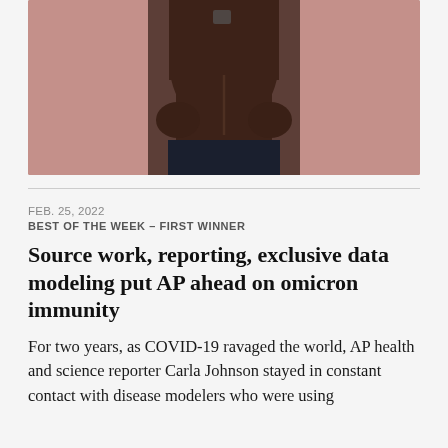[Figure (photo): A person shown from torso down, hands on hips, with a surgical scar visible on the abdomen, standing against a pink/mauve wall background.]
FEB. 25, 2022
BEST OF THE WEEK – FIRST WINNER
Source work, reporting, exclusive data modeling put AP ahead on omicron immunity
For two years, as COVID-19 ravaged the world, AP health and science reporter Carla Johnson stayed in constant contact with disease modelers who were using